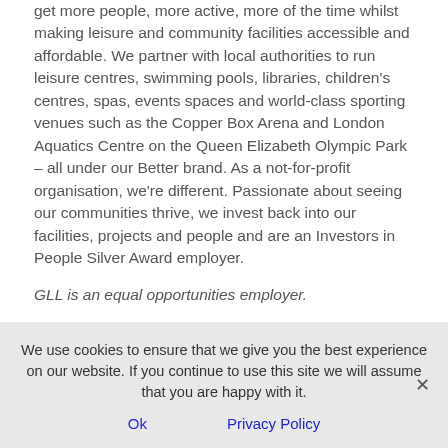get more people, more active, more of the time whilst making leisure and community facilities accessible and affordable. We partner with local authorities to run leisure centres, swimming pools, libraries, children's centres, spas, events spaces and world-class sporting venues such as the Copper Box Arena and London Aquatics Centre on the Queen Elizabeth Olympic Park – all under our Better brand. As a not-for-profit organisation, we're different. Passionate about seeing our communities thrive, we invest back into our facilities, projects and people and are an Investors in People Silver Award employer.
GLL is an equal opportunities employer.
We use cookies to ensure that we give you the best experience on our website. If you continue to use this site we will assume that you are happy with it.
Ok
Privacy Policy